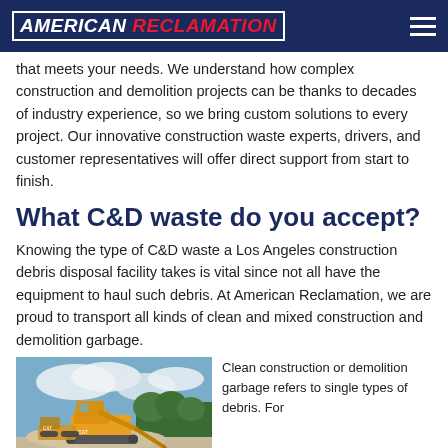AMERICAN RECLAMATION
that meets your needs. We understand how complex construction and demolition projects can be thanks to decades of industry experience, so we bring custom solutions to every project. Our innovative construction waste experts, drivers, and customer representatives will offer direct support from start to finish.
What C&D waste do you accept?
Knowing the type of C&D waste a Los Angeles construction debris disposal facility takes is vital since not all have the equipment to haul such debris. At American Reclamation, we are proud to transport all kinds of clean and mixed construction and demolition garbage.
[Figure (photo): A CAT excavator at a construction/demolition site with piles of debris and trees in the background under a partly cloudy sky.]
Clean construction or demolition garbage refers to single types of debris. For